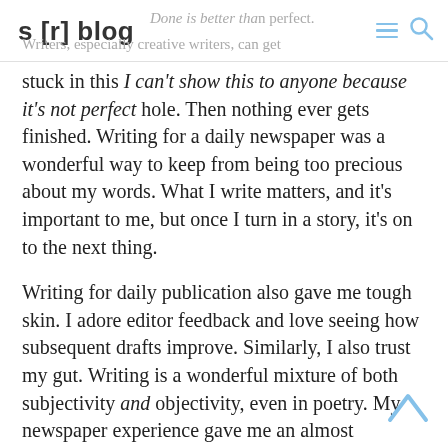s [r] blog — saying Done is better than perfect. Writers, especially creative writers, can get
stuck in this I can't show this to anyone because it's not perfect hole. Then nothing ever gets finished. Writing for a daily newspaper was a wonderful way to keep from being too precious about my words. What I write matters, and it's important to me, but once I turn in a story, it's on to the next thing.
Writing for daily publication also gave me tough skin. I adore editor feedback and love seeing how subsequent drafts improve. Similarly, I also trust my gut. Writing is a wonderful mixture of both subjectivity and objectivity, even in poetry. My newspaper experience gave me an almost scientific approach to being creative.